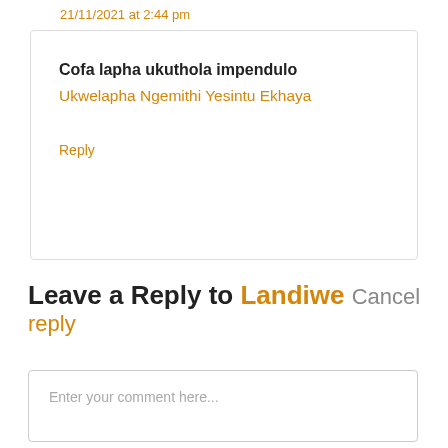21/11/2021 at 2:44 pm
Cofa lapha ukuthola impendulo
Ukwelapha Ngemithi Yesintu Ekhaya

Reply
Leave a Reply to Landiwe Cancel reply
Enter your comment here...